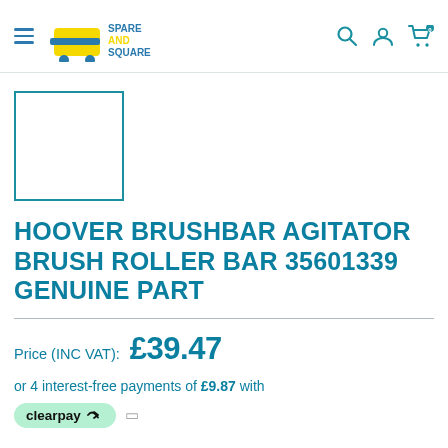[Figure (logo): Spare and Square logo with shopping cart graphic and text 'SPARE AND SQUARE']
[Figure (photo): Product image placeholder - empty white box with teal border]
HOOVER BRUSHBAR AGITATOR BRUSH ROLLER BAR 35601339 GENUINE PART
Price (INC VAT): £39.47
or 4 interest-free payments of £9.87 with
[Figure (logo): Clearpay logo badge - green pill shaped badge with 'clearpay' text and arrow icon]